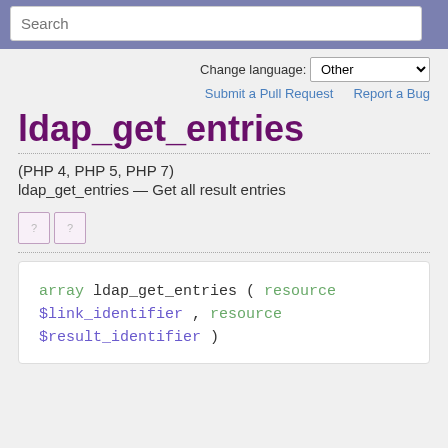Search
Change language: Other
Submit a Pull Request   Report a Bug
ldap_get_entries
(PHP 4, PHP 5, PHP 7)
ldap_get_entries — Get all result entries
[Figure (other): Two placeholder icon boxes]
array ldap_get_entries ( resource $link_identifier , resource $result_identifier )